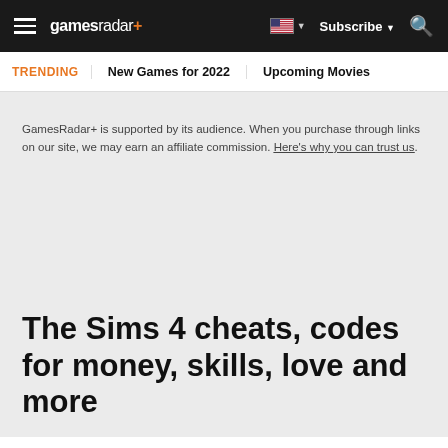≡ gamesradar+ 🇺🇸 ▼ Subscribe ▼ 🔍
TRENDING   New Games for 2022   Upcoming Movies
GamesRadar+ is supported by its audience. When you purchase through links on our site, we may earn an affiliate commission. Here's why you can trust us.
The Sims 4 cheats, codes for money, skills, love and more